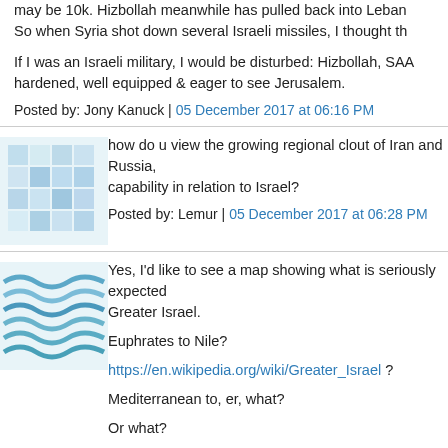may be 10k. Hizbollah meanwhile has pulled back into Lebanon. So when Syria shot down several Israeli missiles, I thought th
If I was an Israeli military, I would be disturbed: Hizbollah, SAA hardened, well equipped & eager to see Jerusalem.
Posted by: Jony Kanuck | 05 December 2017 at 06:16 PM
[Figure (illustration): Avatar icon with geometric pattern for user Lemur]
how do u view the growing regional clout of Iran and Russia, capability in relation to Israel?
Posted by: Lemur | 05 December 2017 at 06:28 PM
[Figure (illustration): Avatar icon with wave pattern for next commenter]
Yes, I'd like to see a map showing what is seriously expected Greater Israel.
Euphrates to Nile?
https://en.wikipedia.org/wiki/Greater_Israel ?
Mediterranean to, er, what?
Or what?